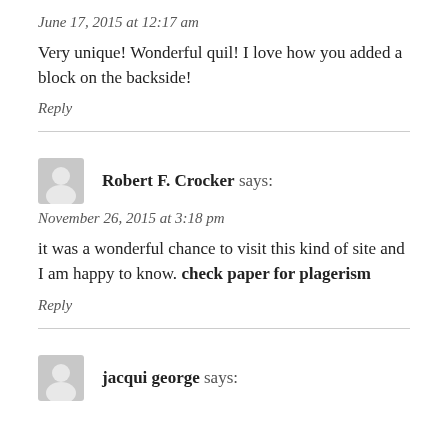June 17, 2015 at 12:17 am
Very unique! Wonderful quil! I love how you added a block on the backside!
Reply
Robert F. Crocker says:
November 26, 2015 at 3:18 pm
it was a wonderful chance to visit this kind of site and I am happy to know. check paper for plagerism
Reply
jacqui george says: